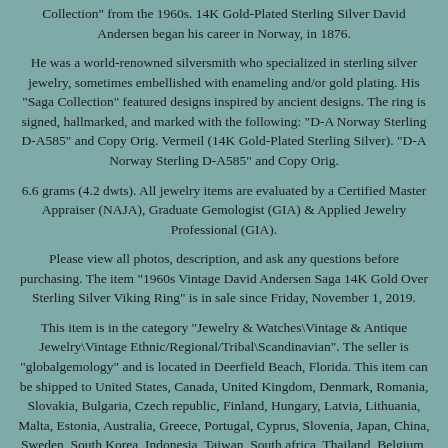Collection" from the 1960s. 14K Gold-Plated Sterling Silver David Andersen began his career in Norway, in 1876.
He was a world-renowned silversmith who specialized in sterling silver jewelry, sometimes embellished with enameling and/or gold plating. His "Saga Collection" featured designs inspired by ancient designs. The ring is signed, hallmarked, and marked with the following: "D-A Norway Sterling D-A585" and Copy Orig. Vermeil (14K Gold-Plated Sterling Silver). "D-A Norway Sterling D-A585" and Copy Orig.
6.6 grams (4.2 dwts). All jewelry items are evaluated by a Certified Master Appraiser (NAJA), Graduate Gemologist (GIA) & Applied Jewelry Professional (GIA).
Please view all photos, description, and ask any questions before purchasing. The item "1960s Vintage David Andersen Saga 14K Gold Over Sterling Silver Viking Ring" is in sale since Friday, November 1, 2019.
This item is in the category "Jewelry & Watches\Vintage & Antique Jewelry\Vintage Ethnic/Regional/Tribal\Scandinavian". The seller is "globalgemology" and is located in Deerfield Beach, Florida. This item can be shipped to United States, Canada, United Kingdom, Denmark, Romania, Slovakia, Bulgaria, Czech republic, Finland, Hungary, Latvia, Lithuania, Malta, Estonia, Australia, Greece, Portugal, Cyprus, Slovenia, Japan, China, Sweden, South Korea, Indonesia, Taiwan, South africa, Thailand, Belgium, France, Hong Kong, Ireland, Netherlands, Poland, Spain, Italy, Germany, Austria,